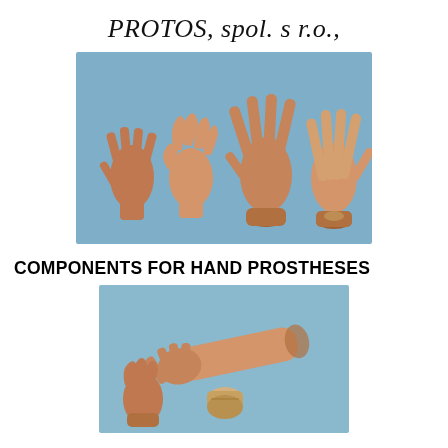PROTOS, spol. s r.o.,
[Figure (photo): Four prosthetic hand models displayed on a blue background, showing different sizes and orientations of realistic-looking silicone hand prostheses, two smaller and two larger, some mounted on bases.]
COMPONENTS FOR HAND PROSTHESES
[Figure (photo): Prosthetic hand components on a blue background: a full arm-length prosthetic glove laid flat, a smaller hand prosthesis, and a connector component, all skin-toned silicone.]